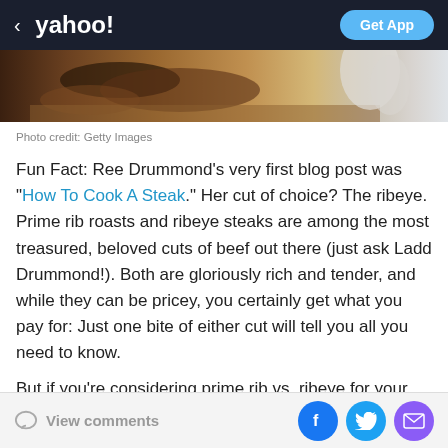< yahoo! | Get App
[Figure (photo): Partial food photo showing cooked meat on a wooden cutting board with a utensil, cropped at top]
Photo credit: Getty Images
Fun Fact: Ree Drummond's very first blog post was "How To Cook A Steak." Her cut of choice? The ribeye. Prime rib roasts and ribeye steaks are among the most treasured, beloved cuts of beef out there (just ask Ladd Drummond!). Both are gloriously rich and tender, and while they can be pricey, you certainly get what you pay for: Just one bite of either cut will tell you all you need to know.
But if you're considering prime rib vs. ribeye for your
View comments | Facebook | Twitter | Email